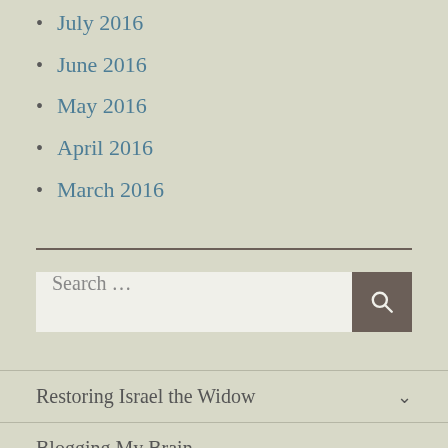July 2016
June 2016
May 2016
April 2016
March 2016
Search ...
Restoring Israel the Widow
Blogging My Brain